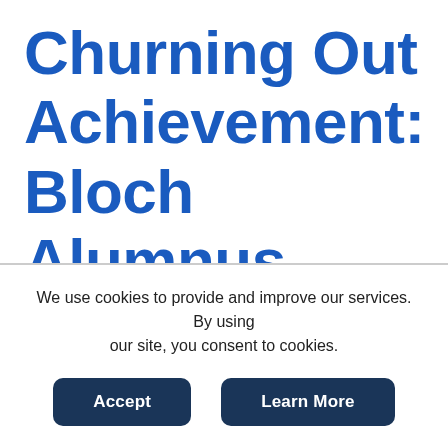Churning Out Achievement: Bloch Alumnus Becomes Betty Boo's Owner
We use cookies to provide and improve our services. By using our site, you consent to cookies.